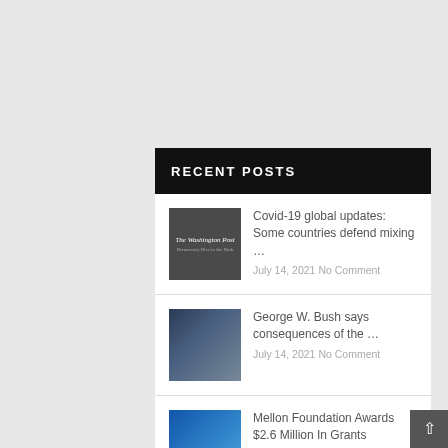RECENT POSTS
Covid-19 global updates: Some countries defend mixing ... July 14, 2021 No Comment
George W. Bush says consequences of the ... July 14, 2021 No Comment
Mellon Foundation Awards $2.6 Million In Grants